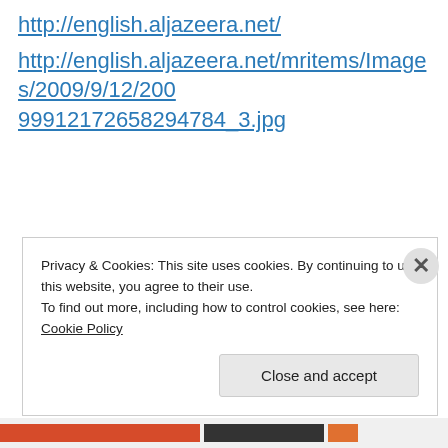http://english.aljazeera.net/
http://english.aljazeera.net/mritems/Images/2009/9/12/20099912172658294784_3.jpg
Privacy & Cookies: This site uses cookies. By continuing to use this website, you agree to their use.
To find out more, including how to control cookies, see here: Cookie Policy
Close and accept